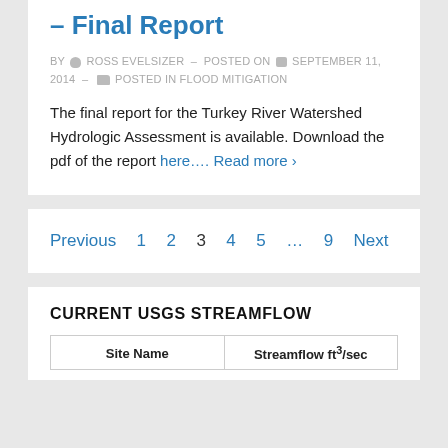– Final Report
BY ROSS EVELSIZER - POSTED ON SEPTEMBER 11, 2014 - POSTED IN FLOOD MITIGATION
The final report for the Turkey River Watershed Hydrologic Assessment is available. Download the pdf of the report here…. Read more ›
Previous 1 2 3 4 5 … 9 Next
CURRENT USGS STREAMFLOW
| Site Name | Streamflow ft³/sec |
| --- | --- |